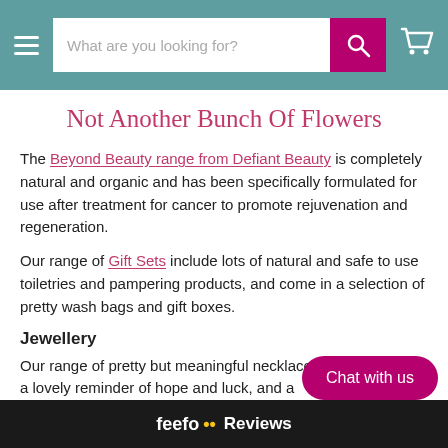What are you looking for? [search bar with hamburger menu and cart icon]
Not Another Bunch Of Flowers
The Beyond Beauty range from Defiant Beauty is completely natural and organic and has been specifically formulated for use after treatment for cancer to promote rejuvenation and regeneration.
Our range of Gift Sets include lots of natural and safe to use toiletries and pampering products, and come in a selection of pretty wash bags and gift boxes.
Jewellery
Our range of pretty but meaningful necklaces and charms are a lovely reminder of hope and luck, and a
[Figure (screenshot): Chat with us button overlay (pink rounded rectangle)]
[Figure (screenshot): Feefo Reviews bar at bottom of page]